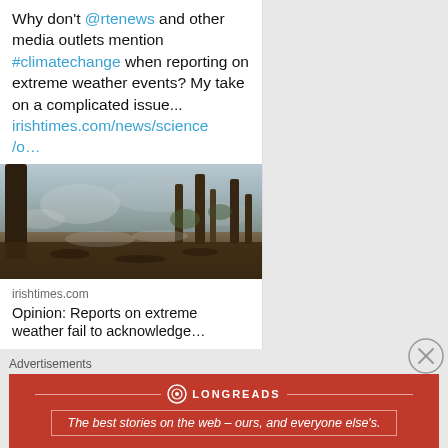Why don't @rtenews and other media outlets mention #climatechange when reporting on extreme weather events? My take on a complicated issue... irishtimes.com/news/science/o…
[Figure (photo): Wildfire scene in a forest with smoke, charred ground and smoldering debris among tall trees]
irishtimes.com
Opinion: Reports on extreme weather fail to acknowledge…
Advertisements
[Figure (infographic): Longreads advertisement banner: red background with Longreads logo and tagline 'The best stories on the web – ours, and everyone else's.']